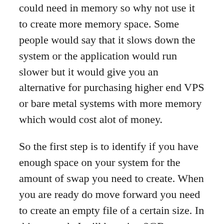could need in memory so why not use it to create more memory space. Some people would say that it slows down the system or the application would run slower but it would give you an alternative for purchasing higher end VPS or bare metal systems with more memory which would cost alot of money.
So the first step is to identify if you have enough space on your system for the amount of swap you need to create. When you are ready do move forward you need to create an empty file of a certain size. In this example I will be using 2GB.
[Figure (screenshot): Dark code block showing terminal command: #dd if=/dev/zero of=/.swap bs=2M count=1024]
this step with which you can to clicking one of